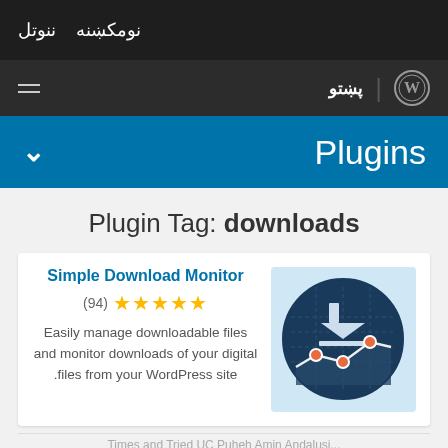نومکښنه ننوتل
پښتو | WordPress logo
Plugins
Plugin Tag: downloads
Simple Download Monitor (94) ★★★★★ Easily manage downloadable files and monitor downloads of your digital files from your WordPress site.
[Figure (illustration): Circular icon showing a download arrow with a line chart and orange data points on a dark blue/teal background]
Times and Tried UC Puheh Amin Andalusi...